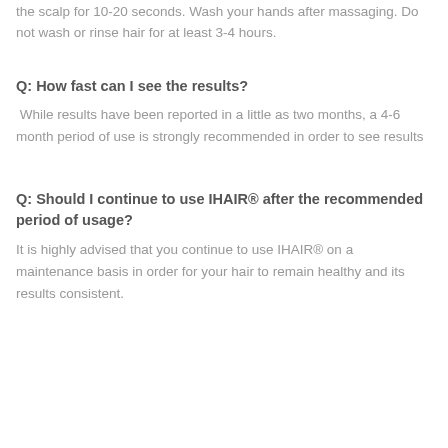the scalp for 10-20 seconds. Wash your hands after massaging. Do not wash or rinse hair for at least 3-4 hours.
Q: How fast can I see the results?
While results have been reported in a little as two months, a 4-6 month period of use is strongly recommended in order to see results
Q: Should I continue to use IHAIR® after the recommended period of usage?
It is highly advised that you continue to use IHAIR® on a maintenance basis in order for your hair to remain healthy and its results consistent.